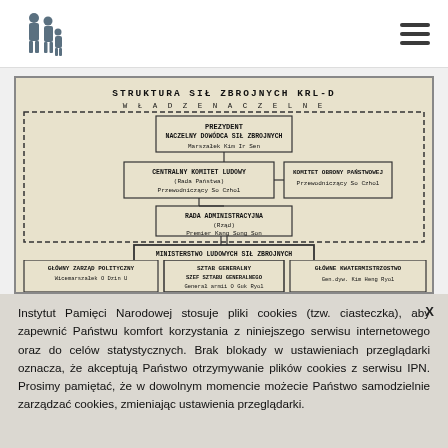IPN website header with logo and navigation menu
[Figure (organizational-chart): Organizational chart titled 'STRUKTURA SIŁ ZBROJNYCH KRL-D' showing the command structure of the Korean People's Army. Top: PREZYDENT NACZELNY DOWÓDCA SIŁ ZBROJNYCH (Marszałek Kim Ir Sen). Below: CENTRALNY KOMITET LUDOWY (Rada Państwa) Przewodniczący So Czhol and KOMITET OBRONY PAŃSTWOWEJ Przewodniczący So Czhol. Then RADA ADMINISTRACYJNA (Rząd) Premier Kang Song Son. Then MINISTERSTWO LUDOWYCH SIŁ ZBROJNYCH MINISTER OBRONY Wicemarszałek O Dzin U. Bottom row: GŁÓWNY ZARZĄD POLITYCZNY Wicemarszałek O Dzin U | SZTAB GENERALNY SZEF SZTABU GENERALNEGO Generał armii O Guk Ryol | GŁÓWNE KWATERMISTRZOSTWO Gen.dyw. Kim Heng Ryol]
Instytut Pamięci Narodowej stosuje pliki cookies (tzw. ciasteczka), aby zapewnić Państwu komfort korzystania z niniejszego serwisu internetowego oraz do celów statystycznych. Brak blokady w ustawieniach przeglądarki oznacza, że akceptują Państwo otrzymywanie plików cookies z serwisu IPN. Prosimy pamiętać, że w dowolnym momencie możecie Państwo samodzielnie zarządzać cookies, zmieniając ustawienia przeglądarki.